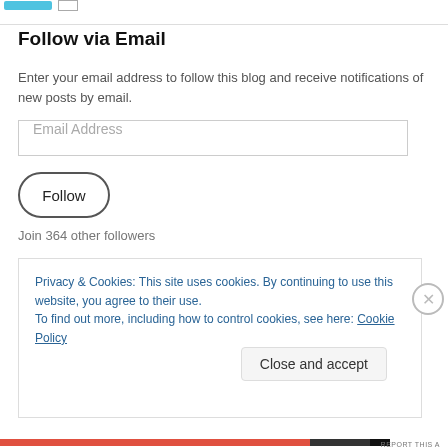Follow via Email
Enter your email address to follow this blog and receive notifications of new posts by email.
Email Address
Follow
Join 364 other followers
Privacy & Cookies: This site uses cookies. By continuing to use this website, you agree to their use.
To find out more, including how to control cookies, see here: Cookie Policy
Close and accept